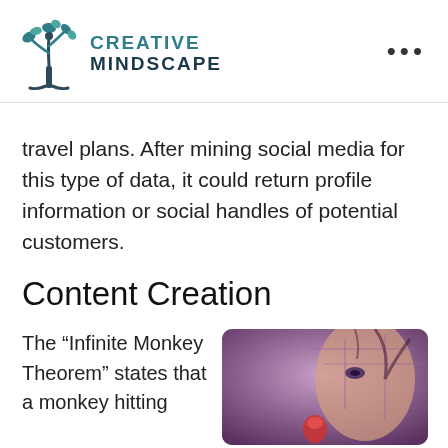[Figure (logo): Creative Mindscape logo with stylized tree/flower icon in teal and dark navy, followed by text CREATIVE MINDSCAPE]
travel plans. After mining social media for this type of data, it could return profile information or social handles of potential customers.
Content Creation
The “Infinite Monkey Theorem” states that a monkey hitting
[Figure (photo): Photo of a woman's face with digital/circuit overlay, holding a red object, purple tones]